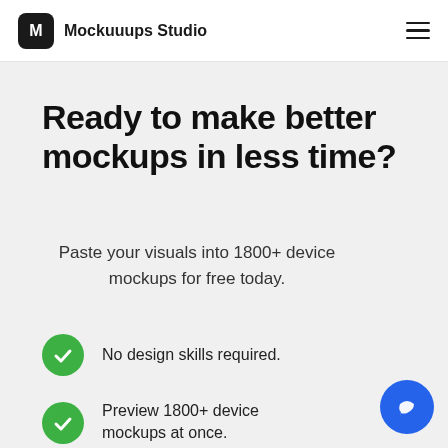Mockuuups Studio
Ready to make better mockups in less time?
Paste your visuals into 1800+ device mockups for free today.
No design skills required.
Preview 1800+ device mockups at once.